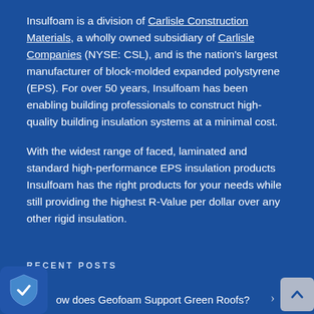Insulfoam is a division of Carlisle Construction Materials, a wholly owned subsidiary of Carlisle Companies (NYSE: CSL), and is the nation's largest manufacturer of block-molded expanded polystyrene (EPS). For over 50 years, Insulfoam has been enabling building professionals to construct high-quality building insulation systems at a minimal cost.
With the widest range of faced, laminated and standard high-performance EPS insulation products Insulfoam has the right products for your needs while still providing the highest R-Value per dollar over any other rigid insulation.
RECENT POSTS
How does Geofoam Support Green Roofs?